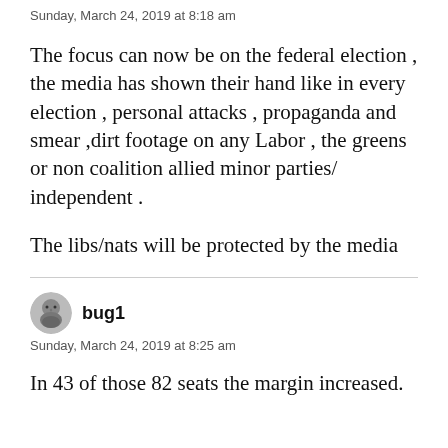Sunday, March 24, 2019 at 8:18 am
The focus can now be on the federal election , the media has shown their hand like in every election , personal attacks , propaganda and smear ,dirt footage on any Labor , the greens or non coalition allied minor parties/ independent .
The libs/nats will be protected by the media
bug1
Sunday, March 24, 2019 at 8:25 am
In 43 of those 82 seats the margin increased.